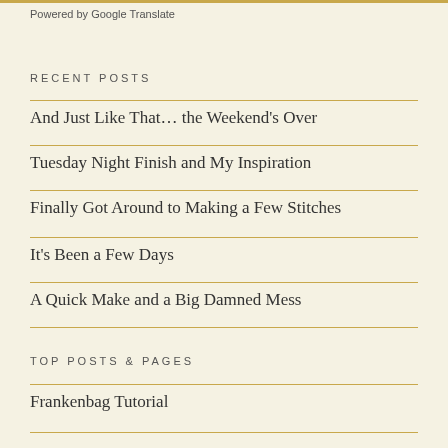Powered by Google Translate
RECENT POSTS
And Just Like That... the Weekend's Over
Tuesday Night Finish and My Inspiration
Finally Got Around to Making a Few Stitches
It's Been a Few Days
A Quick Make and a Big Damned Mess
TOP POSTS & PAGES
Frankenbag Tutorial